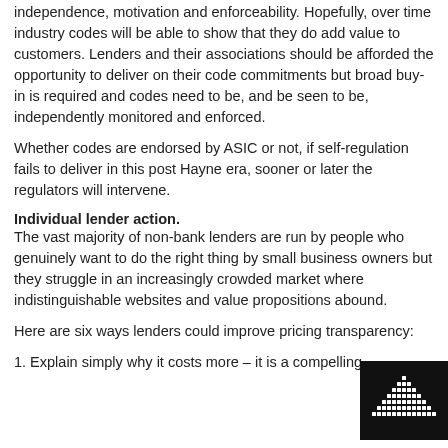independence, motivation and enforceability. Hopefully, over time industry codes will be able to show that they do add value to customers. Lenders and their associations should be afforded the opportunity to deliver on their code commitments but broad buy-in is required and codes need to be, and be seen to be, independently monitored and enforced.
Whether codes are endorsed by ASIC or not, if self-regulation fails to deliver in this post Hayne era, sooner or later the regulators will intervene.
Individual lender action.
The vast majority of non-bank lenders are run by people who genuinely want to do the right thing by small business owners but they struggle in an increasingly crowded market where indistinguishable websites and value propositions abound.
Here are six ways lenders could improve pricing transparency:
1. Explain simply why it costs more – it is a compelling
[Figure (logo): Black square logo with white dot-matrix style triangular/pyramid graphic]